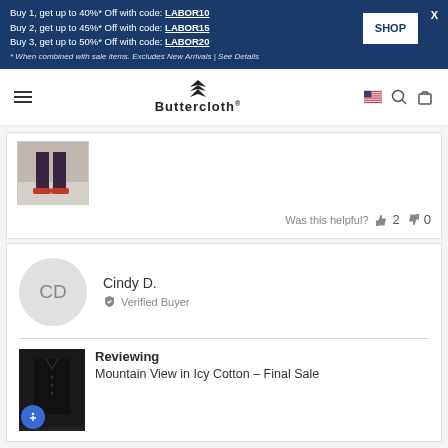Buy 1, get up to 40%* Off with code: LABOR10
Buy 2, get up to 45%* Off with code: LABOR15
Buy 3, get up to 50%* Off with code: LABOR20
* When combined with sale items. Excludes New Arrivals | See Details
[Figure (logo): Buttercloth brand logo with stacked chevron/wing icon above the brand name]
[Figure (photo): Partial photo of person's lower legs and feet wearing dark pants and sandals on a light surface]
Was this helpful? 2 0
Cindy D.
Verified Buyer
Reviewing
Mountain View in Icy Cotton - Final Sale